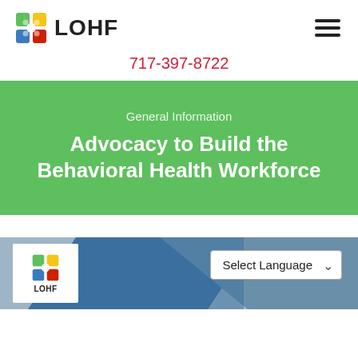[Figure (logo): LOHF logo with colorful square icon and text LOHF]
717-397-8722
General Information
Advocacy to Build the Behavioral Health Workforce
[Figure (screenshot): Bottom preview showing LOHF logo card and Select Language dropdown over a blue/gray background]